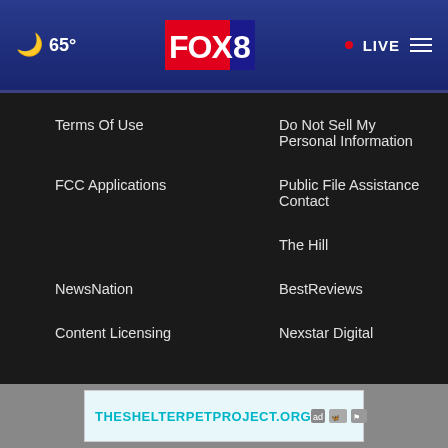🌙 65° | FOX 8 | • LIVE ☰
Terms Of Use
Do Not Sell My Personal Information
FCC Applications
Public File Assistance Contact
The Hill
NewsNation
BestReviews
Content Licensing
Nexstar Digital
© 1998 - 2022 Nexstar Media Inc. | All Rights Reserved.
[Figure (screenshot): Ad banner for THESHELTERPETPROJECT.ORG with AdChoices icons]